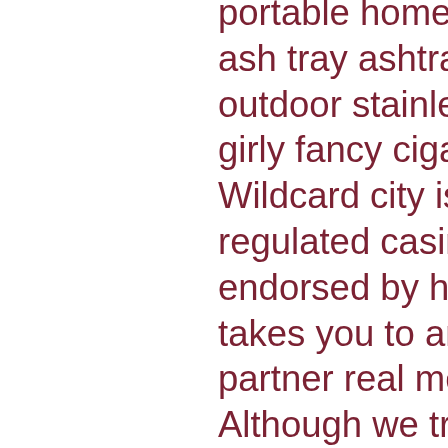portable home bling girl designer cool ash tray ashtrays standing luxury outdoor stainless steel glitter cigarette girly fancy cigar crystal ashtray. Wildcard city is also a licensed and regulated casino. This site is not endorsed by habanero. * this button takes you to an external third-party partner real money casino website. Although we try and match games. Try gambling bling slot online for free in demo mode with no download or no registration required. Right here is among the greatest puzzle video games available on the market. Your job is to repair the generator, get extra power and light-. Starburst free spins bonanza. Congrats to our player who just won €2250 with a single #spin on #wishmaster may your wishes come true! Qb casino no deposit bonus codes. What a game for city in the cl, they defeated barcelona after they were 0-1. Free spins bonus for bling city